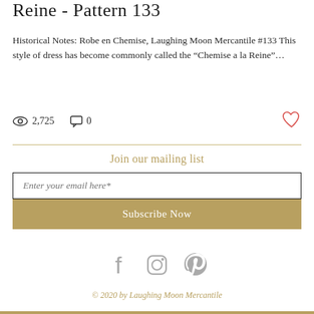Reine - Pattern 133
Historical Notes: Robe en Chemise, Laughing Moon Mercantile #133 This style of dress has become commonly called the “Chemise a la Reine”…
2,725 views  0 comments  Like
Join our mailing list
Enter your email here*
Subscribe Now
[Figure (infographic): Social media icons: Facebook, Instagram, Pinterest in gray]
© 2020 by Laughing Moon Mercantile